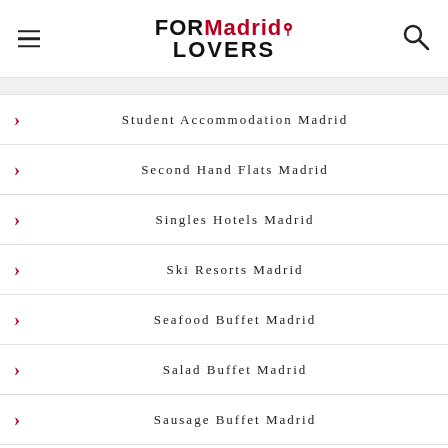FORMadrid LOVERS
Student Accommodation Madrid
Second Hand Flats Madrid
Singles Hotels Madrid
Ski Resorts Madrid
Seafood Buffet Madrid
Salad Buffet Madrid
Sausage Buffet Madrid
Sichuan Restaurants Madrid